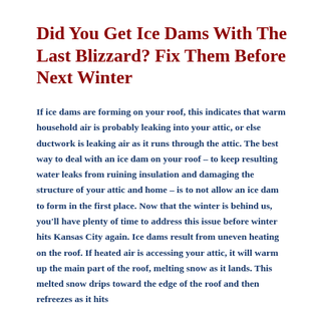Did You Get Ice Dams With The Last Blizzard? Fix Them Before Next Winter
If ice dams are forming on your roof, this indicates that warm household air is probably leaking into your attic, or else ductwork is leaking air as it runs through the attic. The best way to deal with an ice dam on your roof – to keep resulting water leaks from ruining insulation and damaging the structure of your attic and home – is to not allow an ice dam to form in the first place. Now that the winter is behind us, you'll have plenty of time to address this issue before winter hits Kansas City again. Ice dams result from uneven heating on the roof. If heated air is accessing your attic, it will warm up the main part of the roof, melting snow as it lands. This melted snow drips toward the edge of the roof and then refreezes as it hits